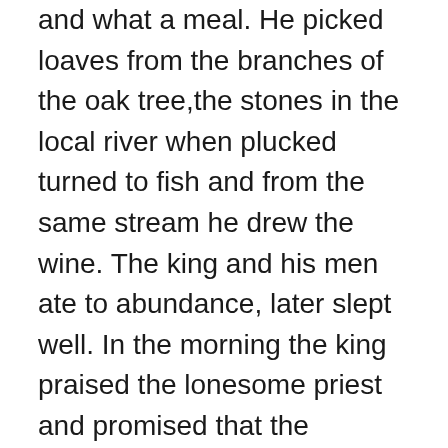and what a meal. He picked loaves from the branches of the oak tree,the stones in the local river when plucked turned to fish and from the same stream he drew the wine. The king and his men ate to abundance, later slept well. In the morning the king praised the lonesome priest and promised that the monastery would be free from all taxes from that day forth.
St. Brynach was gifted with a unique stone cross by his close friend St. David. It stands near the entrance to his church and is known as the Nevern Cross. It is said that the first cuckoo to visit this country each spring lands on and sings from this cross.
St. Brynach died in the 6th century, having had great success with his missionary work in West Wales, where many churches are dedicated to his name and in isolated valleys the rare few will find a small plaque acknowledging